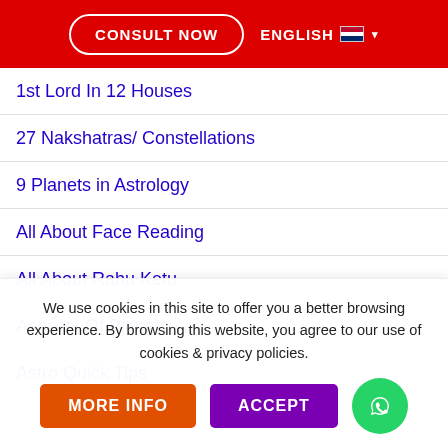CONSULT NOW | ENGLISH
1st Lord In 12 Houses
27 Nakshatras/ Constellations
9 Planets in Astrology
All About Face Reading
All About Rahu Ketu
Aspects Of Planets
Astro Quick Tips
We use cookies in this site to offer you a better browsing experience. By browsing this website, you agree to our use of cookies & privacy policies.
MORE INFO | ACCEPT